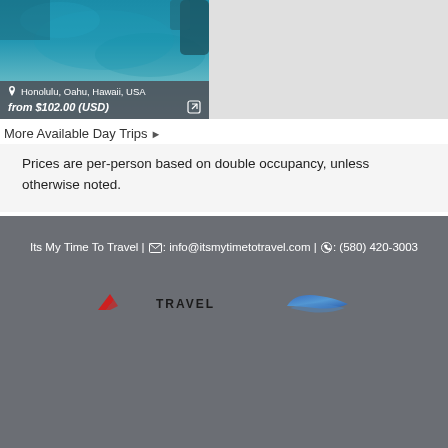[Figure (photo): Underwater photo showing blue ocean water with a person or creature visible at the top, partial view of a travel destination card for Honolulu, Oahu, Hawaii, USA]
Honolulu, Oahu, Hawaii, USA
from $102.00 (USD)
More Available Day Trips ▶
Prices are per-person based on double occupancy, unless otherwise noted.
Its My Time To Travel | ✉: info@itsmytimetotravel.com | ✆: (580) 420-3003
[Figure (logo): Air France travel logo with red chevron and TRAVEL text]
[Figure (logo): Blue stylized wing/ribbon logo]